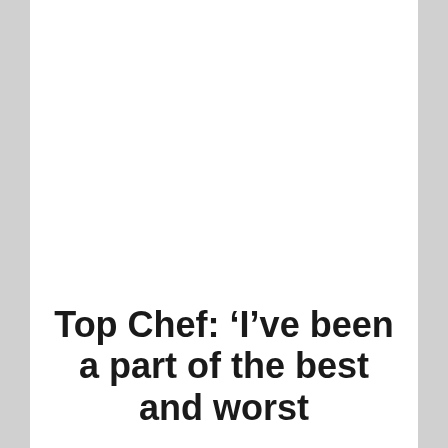Top Chef: ‘I’ve been a part of the best and worst